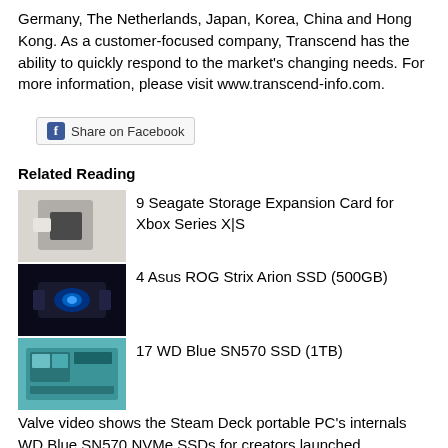Germany, The Netherlands, Japan, Korea, China and Hong Kong. As a customer-focused company, Transcend has the ability to quickly respond to the market's changing needs. For more information, please visit www.transcend-info.com.
[Figure (other): Facebook Share on Facebook button]
Related Reading
[Figure (photo): Seagate Storage Expansion Card for Xbox Series X|S product photo]
9 Seagate Storage Expansion Card for Xbox Series X|S
[Figure (photo): Asus ROG Strix Arion SSD (500GB) product photo]
4 Asus ROG Strix Arion SSD (500GB)
[Figure (photo): WD Blue SN570 SSD (1TB) product box photo]
17 WD Blue SN570 SSD (1TB)
Valve video shows the Steam Deck portable PC's internals WD Blue SN570 NVMe SSDs for creators launched Transcend SuperMLC technology trumpeted as SLC alternative Transcend StoreJet 35T3 offers up to 8TB of USB 3.0 storage SSDs to enjoy strong growth in 2014 thanks